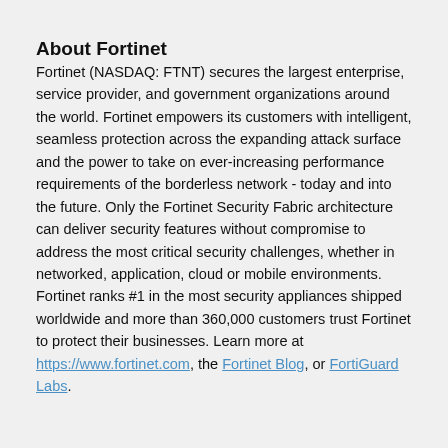About Fortinet
Fortinet (NASDAQ: FTNT) secures the largest enterprise, service provider, and government organizations around the world. Fortinet empowers its customers with intelligent, seamless protection across the expanding attack surface and the power to take on ever-increasing performance requirements of the borderless network - today and into the future. Only the Fortinet Security Fabric architecture can deliver security features without compromise to address the most critical security challenges, whether in networked, application, cloud or mobile environments. Fortinet ranks #1 in the most security appliances shipped worldwide and more than 360,000 customers trust Fortinet to protect their businesses. Learn more at https://www.fortinet.com, the Fortinet Blog, or FortiGuard Labs.